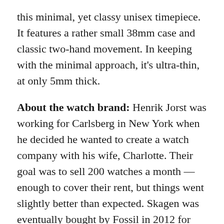this minimal, yet classy unisex timepiece. It features a rather small 38mm case and classic two-hand movement. In keeping with the minimal approach, it's ultra-thin, at only 5mm thick.
About the watch brand: Henrik Jorst was working for Carlsberg in New York when he decided he wanted to create a watch company with his wife, Charlotte. Their goal was to sell 200 watches a month — enough to cover their rent, but things went slightly better than expected. Skagen was eventually bought by Fossil in 2012 for $237m. It continues as a